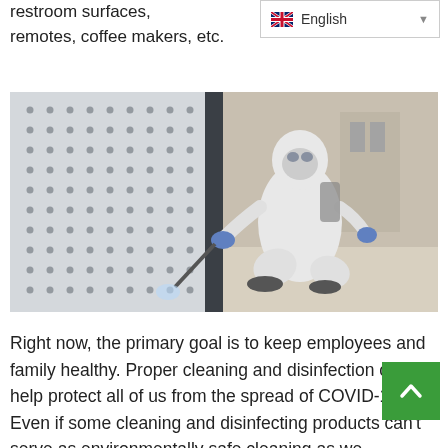restroom surfaces, remotes, coffee makers, etc.
[Figure (photo): A person wearing a full white hazmat suit, mask, and blue gloves crouching down and spraying disinfectant on a wall or surface in a building corridor.]
Right now, the primary goal is to keep employees and family healthy. Proper cleaning and disinfection can help protect all of us from the spread of COVID-19. Even if some cleaning and disinfecting products can't serve as environmentally safe cleaning as we navigate our way through the COVID-19 pandemic, businesses and households can continu...